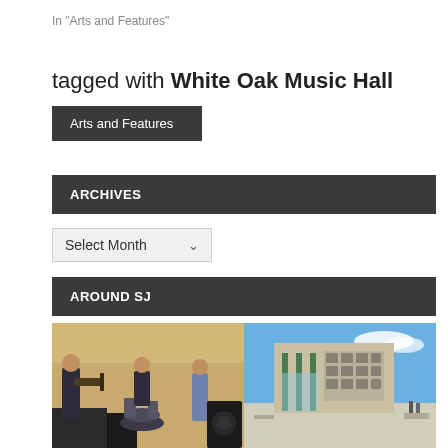In "Arts and Features"
tagged with White Oak Music Hall
Arts and Features
ARCHIVES
Select Month
AROUND SJ
[Figure (photo): Band playing music indoors with guitar, drums, and another musician]
[Figure (photo): Modern building exterior under blue sky with green pillars]